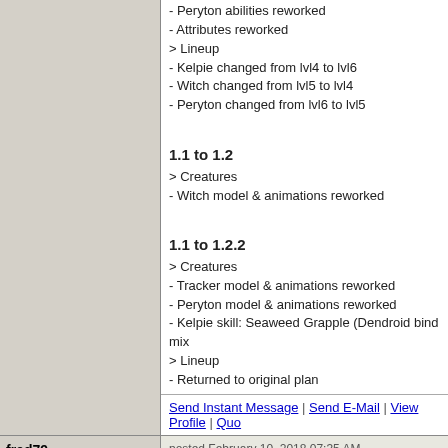- Peryton abilities reworked
- Attributes reworked
> Lineup
- Kelpie changed from lvl4 to lvl6
- Witch changed from lvl5 to lvl4
- Peryton changed from lvl6 to lvl5
1.1 to 1.2
> Creatures
- Witch model & animations reworked
1.1 to 1.2.2
> Creatures
- Tracker model & animations reworked
- Peryton model & animations reworked
- Kelpie skill: Seaweed Grapple (Dendroid bind mix
> Lineup
- Returned to original plan
Send Instant Message | Send E-Mail | View Profile | Quo
fred79
[Figure (illustration): Avatar image of a skeleton warrior with weapons on a green base]
★★★★★★★ Disgraceful Undefeatable Hero
posted February 10, 2018 07:35 AM
love the townscreen progress. interesting dwellings
Send Instant Message | Send E-Mail | View Profile | Quo